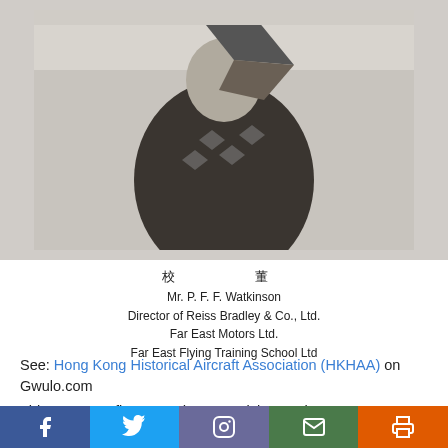[Figure (photo): Black and white photograph of a person, cropped, showing upper portion. The image appears to be a historical photo.]
校　董
Mr. P. F. F. Watkinson
Director of Reiss Bradley & Co., Ltd.
Far East Motors Ltd.
Far East Flying Training School Ltd
See: Hong Kong Historical Aircraft Association (HKHAA) on Gwulo.com
This Q&A was first posted as an article on 5th May 2018.
Related Indhhk articles:
1. Far East Aviation Company Ltd. – "British Enterprise in China" 1924 article